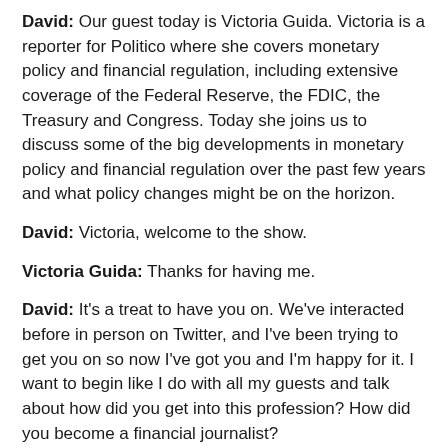David: Our guest today is Victoria Guida. Victoria is a reporter for Politico where she covers monetary policy and financial regulation, including extensive coverage of the Federal Reserve, the FDIC, the Treasury and Congress. Today she joins us to discuss some of the big developments in monetary policy and financial regulation over the past few years and what policy changes might be on the horizon.
David: Victoria, welcome to the show.
Victoria Guida: Thanks for having me.
David: It's a treat to have you on. We've interacted before in person on Twitter, and I've been trying to get you on so now I've got you and I'm happy for it. I want to begin like I do with all my guests and talk about how did you get into this profession? How did you become a financial journalist?